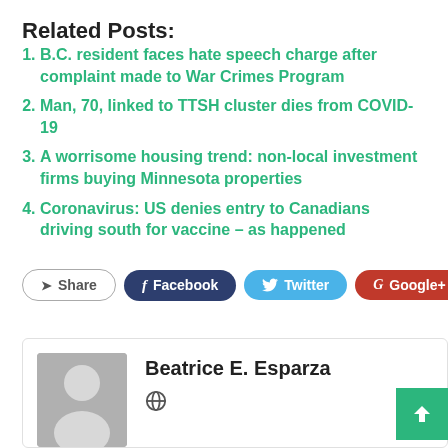Related Posts:
B.C. resident faces hate speech charge after complaint made to War Crimes Program
Man, 70, linked to TTSH cluster dies from COVID-19
A worrisome housing trend: non-local investment firms buying Minnesota properties
Coronavirus: US denies entry to Canadians driving south for vaccine – as happened
Share  Facebook  Twitter  Google+  +
Beatrice E. Esparza